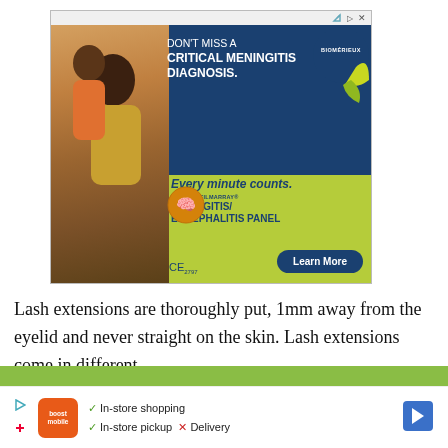[Figure (illustration): BioMérieux advertisement for BioFire FilmArray Meningitis/Encephalitis Panel. Shows a father and daughter (child on shoulders), blue and green background sections. Text: 'DON'T MISS A CRITICAL MENINGITIS DIAGNOSIS. Every minute counts. BIOFIRE FILMARRAY MENINGITIS/ENCEPHALITIS PANEL. Learn More. CE mark.']
Lash extensions are thoroughly put, 1mm away from the eyelid and never straight on the skin. Lash extensions come in different
[Figure (illustration): Bottom advertisement banner for Boost Mobile showing In-store shopping (checkmark), In-store pickup (checkmark), Delivery (X). Navigation arrow icon on right.]